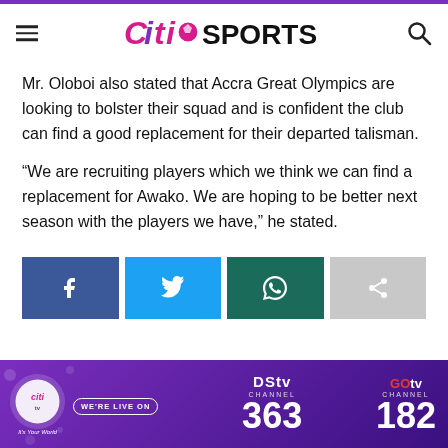Citi SPORTS
Mr. Oloboi also stated that Accra Great Olympics are looking to bolster their squad and is confident the club can find a good replacement for their departed talisman.
“We are recruiting players which we think we can find a replacement for Awako. We are hoping to be better next season with the players we have,” he stated.
[Figure (infographic): Social share buttons: Facebook (blue), Twitter (light blue), WhatsApp (dark teal), Share (gray)]
[Figure (infographic): DStv and GOtv advertisement banner with Citi TV logo. Text: WE'RE LIVE ON, DStv CHANNEL 363, GOtv CHANNEL 182]